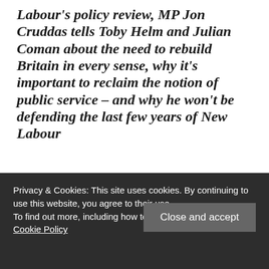Labour's policy review, MP Jon Cruddas tells Toby Helm and Julian Coman about the need to rebuild Britain in every sense, why it's important to reclaim the notion of public service – and why he won't be defending the last few years of New Labour
Toby Helm and Julian Coman, Saturday 16 June 2012 20.39
Privacy & Cookies: This site uses cookies. By continuing to use this website, you agree to their use.
To find out more, including how to control cookies, see here: Cookie Policy